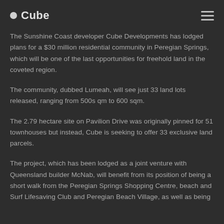Cube
The Sunshine Coast developer Cube Developments has lodged plans for a $30 million residential community in Peregian Springs, which will be one of the last opportunities for freehold land in the coveted region.
The community, dubbed Lumeah, will see just 33 land lots released, ranging from 500s qm to 600 sqm.
The 2.79 hectare site on Pavilion Drive was originally pinned for 51 townhouses but instead, Cube is seeking to offer 33 exclusive land parcels.
The project, which has been lodged as a joint venture with Queensland builder McNab, will benefit from its position of being a short walk from the Peregian Springs Shopping Centre, beach and Surf Lifesaving Club and Peregian Beach Village, as well as being